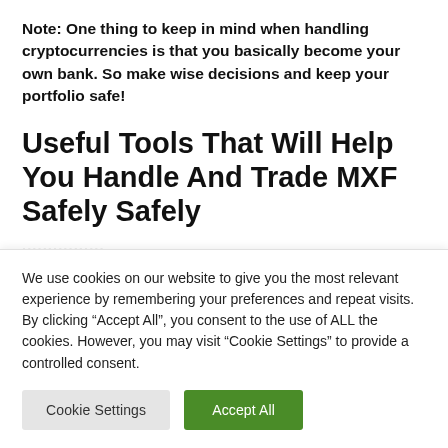Note: One thing to keep in mind when handling cryptocurrencies is that you basically become your own bank. So make wise decisions and keep your portfolio safe!
Useful Tools That Will Help You Handle And Trade MXF Safely Safely
We use cookies on our website to give you the most relevant experience by remembering your preferences and repeat visits. By clicking “Accept All”, you consent to the use of ALL the cookies. However, you may visit “Cookie Settings” to provide a controlled consent.